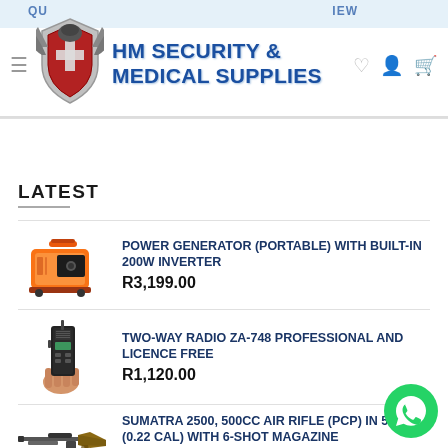HM SECURITY & MEDICAL SUPPLIES
LATEST
[Figure (photo): Orange portable power generator product image]
POWER GENERATOR (PORTABLE) WITH BUILT-IN 200W INVERTER
R3,199.00
[Figure (photo): Hand holding a black two-way radio walkie-talkie]
TWO-WAY RADIO ZA-748 PROFESSIONAL AND LICENCE FREE
R1,120.00
[Figure (photo): Sumatra 2500 air rifle product image]
SUMATRA 2500, 500CC AIR RIFLE (PCP) IN 5.5MM (0.22 CAL) WITH 6-SHOT MAGAZINE